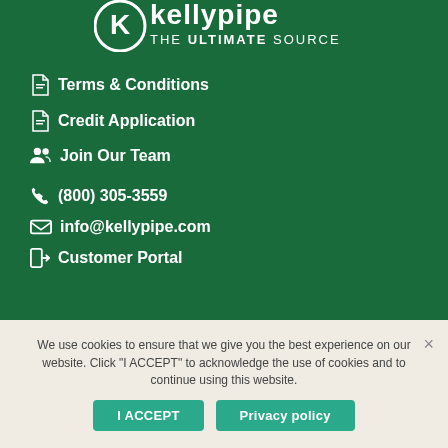[Figure (logo): Kelly Pipe logo with text 'THE ULTIMATE SOURCE' on green background]
Terms & Conditions
Credit Application
Join Our Team
(800) 305-3559
info@kellypipe.com
Customer Portal
We use cookies to ensure that we give you the best experience on our website. Click "I ACCEPT" to acknowledge the use of cookies and to continue using this website.
I ACCEPT   Privacy policy